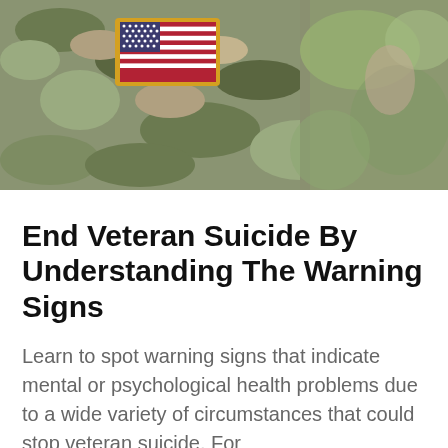[Figure (photo): Close-up photo of a military soldier's arm wearing camouflage uniform with an American flag patch on the shoulder. Background is blurred green foliage and another soldier in camouflage.]
End Veteran Suicide By Understanding The Warning Signs
Learn to spot warning signs that indicate mental or psychological health problems due to a wide variety of circumstances that could stop veteran suicide. For